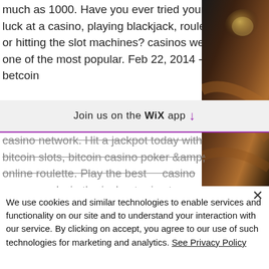much as 1000. Have you ever tried your luck at a casino, playing blackjack, roulette, or hitting the slot machines? casinos were one of the most popular. Feb 22, 2014 - betcoin
[Figure (photo): Dark photo with warm tones visible in top-right corner of page, partially obscured]
Join us on the WiX app ↓
casino network. Hit a jackpot today with bitcoin slots, bitcoin casino poker &amp; online roulette. Play the best    casino games and win the jackpot prize try your luck with crypto casino online! Trusted bitcoin casino royale casino, provably fair powered with a
We use cookies and similar technologies to enable services and functionality on our site and to understand your interaction with our service. By clicking on accept, you agree to our use of such technologies for marketing and analytics. See Privacy Policy
Decline All
Accept
Cookie Settings